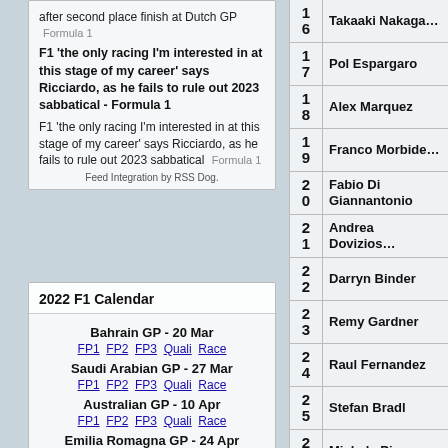after second place finish at Dutch GP  Formula 1
F1 'the only racing I'm interested in at this stage of my career' says Ricciardo, as he fails to rule out 2023 sabbatical - Formula 1
F1 'the only racing I'm interested in at this stage of my career' says Ricciardo, as he fails to rule out 2023 sabbatical  Formula 1
Feed Integration by RSS Dog.
2022 F1 Calendar
Bahrain GP - 20 Mar
FP1  FP2  FP3  Quali  Race
Saudi Arabian GP - 27 Mar
FP1  FP2  FP3  Quali  Race
Australian GP - 10 Apr
FP1  FP2  FP3  Quali  Race
Emilia Romagna GP - 24 Apr
FP1  Quali  FP2  SQ  Race
| # | Name |
| --- | --- |
| 16 | Takaaki Nakagami |
| 17 | Pol Espargaro |
| 18 | Alex Marquez |
| 19 | Franco Morbidelli |
| 20 | Fabio Di Giannantonio |
| 21 | Andrea Dovizioso |
| 22 | Darryn Binder |
| 23 | Remy Gardner |
| 24 | Raul Fernandez |
| 25 | Stefan Bradl |
| 26 | Michele Pirro |